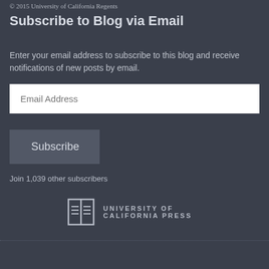© 2015 University of California Regents
Subscribe to Blog via Email
Enter your email address to subscribe to this blog and receive notifications of new posts by email.
Email Address
Subscribe
Join 1,039 other subscribers
[Figure (logo): University of California Press logo with stylized open book icon and text 'UNIVERSITY OF CALIFORNIA PRESS' in spaced capitals]